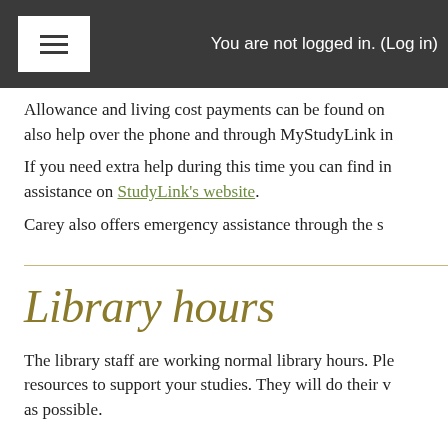≡  You are not logged in. (Log in)
Allowance and living cost payments can be found on also help over the phone and through MyStudyLink in
If you need extra help during this time you can find in assistance on StudyLink's website.
Carey also offers emergency assistance through the s
Library hours
The library staff are working normal library hours. Ple resources to support your studies. They will do their v as possible.
Events coming up